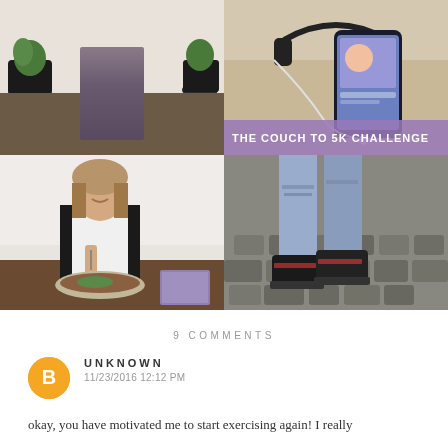[Figure (photo): 2x2 grid of photos: top-left shows person's legs standing on wooden deck with plants; top-right shows phone and headphones on woven surface with purple banner reading 'THE COUCH TO 5K CHALLENGE'; bottom-left shows woman smiling eating at a table; bottom-right shows legs in ripped jeans walking on cobblestones]
9 COMMENTS
UNKNOWN
11/23/2016 12:12 PM
okay, you have motivated me to start exercising again! I really